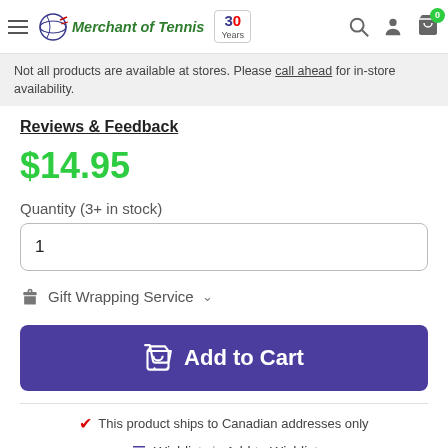Merchant of Tennis — 30 Years — navigation bar
Not all products are available at stores. Please call ahead for in-store availability.
Reviews & Feedback
$14.95
Quantity (3+ in stock)
1
Gift Wrapping Service
Add to Cart
This product ships to Canadian addresses only
Wishlist | Add to Wishlist